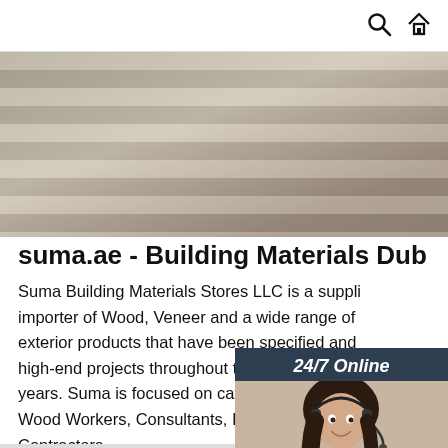Navigation bar with search and home icons
[Figure (photo): Close-up photo of metallic/wood ridged building material panels, horizontal streaks of grey and tan]
[Figure (infographic): 24/7 Online chat widget with dark blue background, woman with headset, 'Click here for free chat!' text and orange QUOTATION button]
suma.ae - Building Materials Dub
Suma Building Materials Stores LLC is a supplier and importer of Wood, Veneer and a wide range of interior and exterior products that have been specified and used in high-end projects throughout the Middle East for many years. Suma is focused on catering to the innovative needs of Wood Workers, Consultants, Interior Designers, and Contractors.
[Figure (logo): Orange TOP logo with dots above the letters forming a triangle shape]